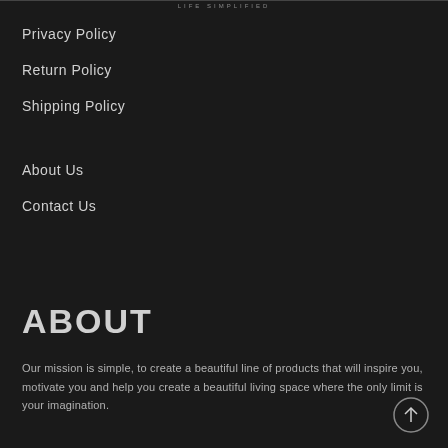LIFE SIMPLIFIED
Privacy Policy
Return Policy
Shipping Policy
About Us
Contact Us
ABOUT
Our mission is simple, to create a beautiful line of products that will inspire you, motivate you and help you create a beautiful living space where the only limit is your imagination.